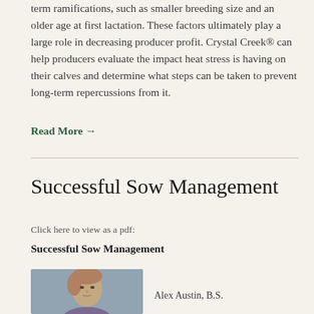term ramifications, such as smaller breeding size and an older age at first lactation. These factors ultimately play a large role in decreasing producer profit. Crystal Creek® can help producers evaluate the impact heat stress is having on their calves and determine what steps can be taken to prevent long-term repercussions from it.
Read More →
Successful Sow Management
Click here to view as a pdf:
Successful Sow Management
[Figure (photo): Headshot photo of Alex Austin, B.S., a woman with short hair against a grey background]
Alex Austin, B.S.